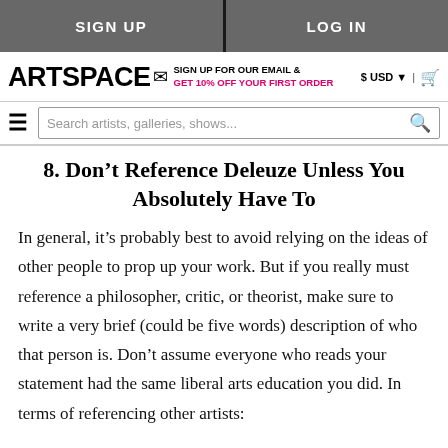SIGN UP | LOG IN
ARTSPACE — SIGN UP FOR OUR EMAIL & GET 10% OFF YOUR FIRST ORDER — $ USD | cart
Search artists, galleries, shows...
8. Don't Reference Deleuze Unless You Absolutely Have To
In general, it's probably best to avoid relying on the ideas of other people to prop up your work. But if you really must reference a philosopher, critic, or theorist, make sure to write a very brief (could be five words) description of who that person is. Don't assume everyone who reads your statement had the same liberal arts education you did. In terms of referencing other artists: